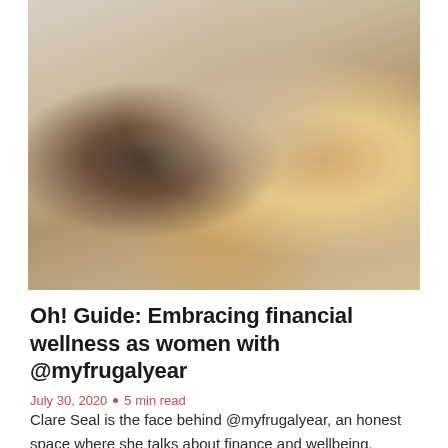[Figure (photo): A blurred lifestyle photo of a woman with dark hair in an interior setting, with decorative objects and warm lighting in the background.]
Oh! Guide: Embracing financial wellness as women with @myfrugalyear
July 30, 2020  •  5 min read
Clare Seal is the face behind @myfrugalyear, an honest space where she talks about finance and wellbeing. Healthy relationships